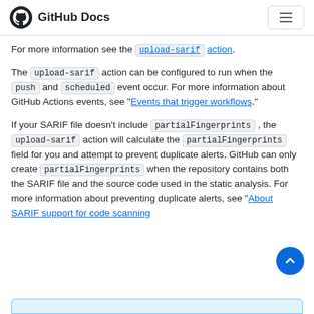GitHub Docs
For more information see the upload-sarif action.
The upload-sarif action can be configured to run when the push and scheduled event occur. For more information about GitHub Actions events, see "Events that trigger workflows."
If your SARIF file doesn't include partialFingerprints , the upload-sarif action will calculate the partialFingerprints field for you and attempt to prevent duplicate alerts. GitHub can only create partialFingerprints when the repository contains both the SARIF file and the source code used in the static analysis. For more information about preventing duplicate alerts, see "About SARIF support for code scanning